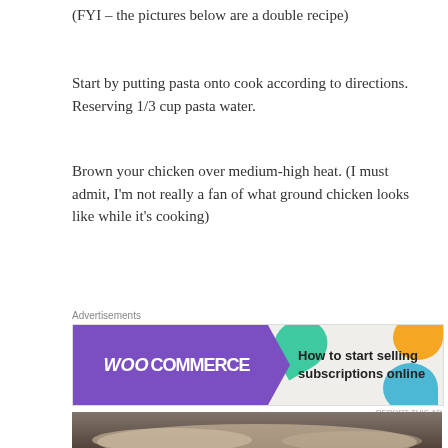(FYI – the pictures below are a double recipe)
Start by putting pasta onto cook according to directions. Reserving 1/3 cup pasta water.
Brown your chicken over medium-high heat. (I must admit, I'm not really a fan of what ground chicken looks like while it's cooking)
[Figure (photo): WooCommerce advertisement banner: How to start selling subscriptions online]
[Figure (photo): Photo of ground chicken browning in a black skillet/pan, with a black slotted spatula, on a kitchen counter with tile backsplash]